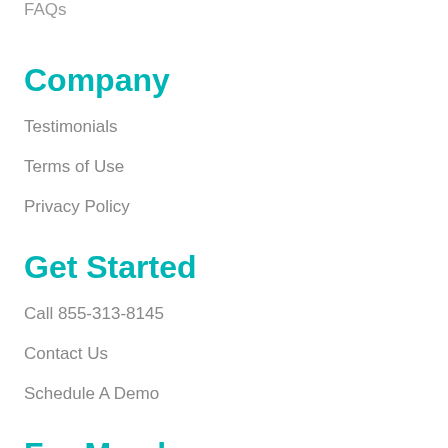FAQs
Company
Testimonials
Terms of Use
Privacy Policy
Get Started
Call 855-313-8145
Contact Us
Schedule A Demo
For Members